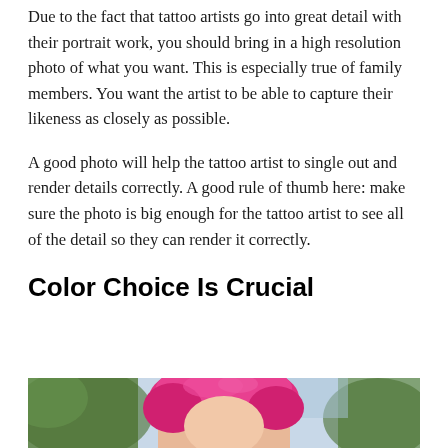Due to the fact that tattoo artists go into great detail with their portrait work, you should bring in a high resolution photo of what you want. This is especially true of family members. You want the artist to be able to capture their likeness as closely as possible.
A good photo will help the tattoo artist to single out and render details correctly. A good rule of thumb here: make sure the photo is big enough for the tattoo artist to see all of the detail so they can render it correctly.
Color Choice Is Crucial
[Figure (photo): Photo of a person with bright pink/magenta hair, partial view showing top of head and shoulders, with green foliage in the background and blue sky visible.]